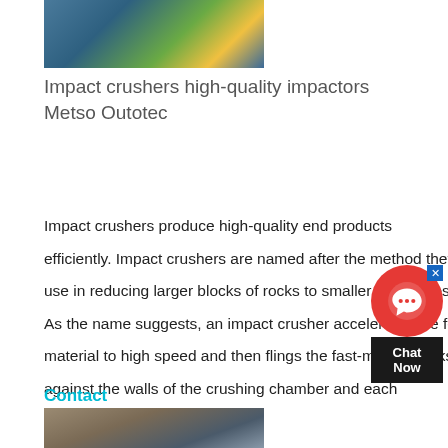[Figure (photo): Industrial impact crusher machinery with blue and yellow equipment]
Impact crushers high-quality impactors Metso Outotec
Impact crushers produce high-quality end products efficiently. Impact crushers are named after the method they use in reducing larger blocks of rocks to smaller grain sizes. As the name suggests, an impact crusher accelerates the feed material to high speed and then flings the fast-moving rocks against the walls of the crushing chamber and each
Contact
[Figure (photo): Quarry or mining site showing a crusher installation against a rocky hillside]